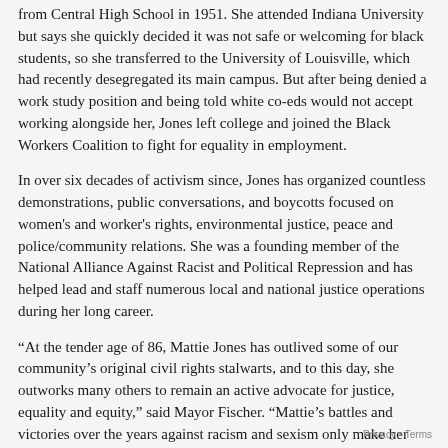from Central High School in 1951. She attended Indiana University but says she quickly decided it was not safe or welcoming for black students, so she transferred to the University of Louisville, which had recently desegregated its main campus. But after being denied a work study position and being told white co-eds would not accept working alongside her, Jones left college and joined the Black Workers Coalition to fight for equality in employment.
In over six decades of activism since, Jones has organized countless demonstrations, public conversations, and boycotts focused on women's and worker's rights, environmental justice, peace and police/community relations. She was a founding member of the National Alliance Against Racist and Political Repression and has helped lead and staff numerous local and national justice operations during her long career.
“At the tender age of 86, Mattie Jones has outlived some of our community’s original civil rights stalwarts, and to this day, she outworks many others to remain an active advocate for justice, equality and equity,” said Mayor Fischer. “Mattie’s battles and victories over the years against racism and sexism only make her advocacy and inspiration more powerful. There is no quit in Mattie. She is most worthy of this significant recognition.”
Mayor Fischer will present the Freedom Award on Sunday, Jan. 19 during the “Keepers of the Dream” community arts celebration dedicated to Dr. King, in Whitney Hall at the Kentucky Center on Main Street. The event, which is free and open to the public, begins at 5 p.m., with lobby activities from 3:30 to 4:45 p.m.
Privacy • Terms